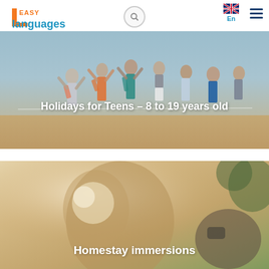[Figure (logo): Easy Languages logo with orange triangle and blue text]
[Figure (photo): Teens jumping on a rooftop terrace with banner text 'Holidays for Teens - 8 to 19 years old']
Holidays for Teens – 8 to 19 years old
[Figure (photo): Close-up of hands with a drink, warm tones, banner for Homestay immersions]
Homestay immersions